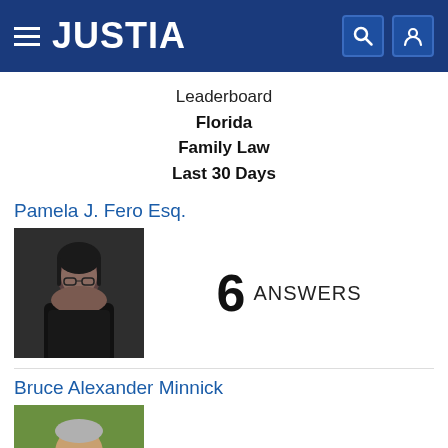JUSTIA
Leaderboard
Florida
Family Law
Last 30 Days
Pamela J. Fero Esq.
[Figure (photo): Headshot photo of Pamela J. Fero Esq., a woman in dark attire]
6 ANSWERS
Bruce Alexander Minnick
[Figure (photo): Headshot photo of Bruce Alexander Minnick, a man in a suit with a red tie outdoors]
4 ANSWERS
VIEW MORE